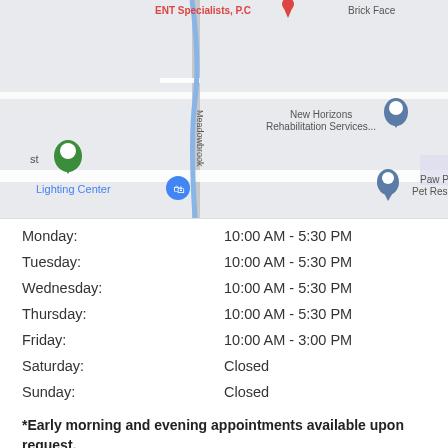[Figure (map): Google Maps screenshot showing local area with landmarks: ENT Specialists P.C, Brick Face, New Horizons Rehabilitation Services, Lighting Center, Paw Print Inn Pet Resort & Spa, and Meadowbrook road label.]
| Day | Hours |
| --- | --- |
| Monday: | 10:00 AM - 5:30 PM |
| Tuesday: | 10:00 AM - 5:30 PM |
| Wednesday: | 10:00 AM - 5:30 PM |
| Thursday: | 10:00 AM - 5:30 PM |
| Friday: | 10:00 AM - 3:00 PM |
| Saturday: | Closed |
| Sunday: | Closed |
*Early morning and evening appointments available upon request.